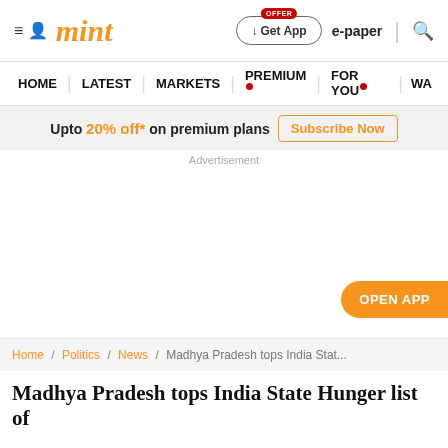mint
HOME | LATEST | MARKETS | PREMIUM | FOR YOU | WA
Upto 20% off* on premium plans  Subscribe Now
Advertisement
OPEN APP
Home / Politics / News / Madhya Pradesh tops India Stat...
Madhya Pradesh tops India State Hunger list of